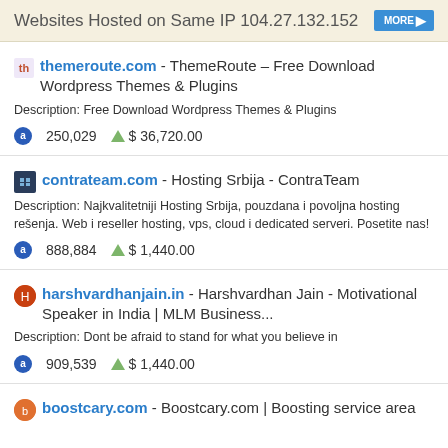Websites Hosted on Same IP 104.27.132.152
themeroute.com - ThemeRoute – Free Download Wordpress Themes & Plugins
Description: Free Download Wordpress Themes & Plugins
250,029  $ 36,720.00
contrateam.com - Hosting Srbija - ContraTeam
Description: Najkvalitetniji Hosting Srbija, pouzdana i povoljna hosting rešenja. Web i reseller hosting, vps, cloud i dedicated serveri. Posetite nas!
888,884  $ 1,440.00
harshvardhanjain.in - Harshvardhan Jain - Motivational Speaker in India | MLM Business...
Description: Dont be afraid to stand for what you believe in
909,539  $ 1,440.00
boostcary.com - Boostcary.com | Boosting service area